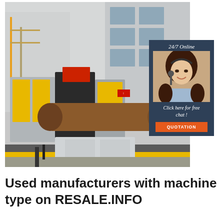[Figure (photo): Industrial manufacturing machine — large CNC or pipe-processing machine with yellow and grey panels, a large cylindrical brown pipe/roller running through it, set inside a factory building with multi-story white concrete walls and windows visible in the background. A customer service chat widget overlaid on the upper-right corner showing a smiling woman with a headset, dark navy background, text '24/7 Online', 'Click here for free chat!', and an orange 'QUOTATION' button.]
Used manufacturers with machine type on RESALE.INFO